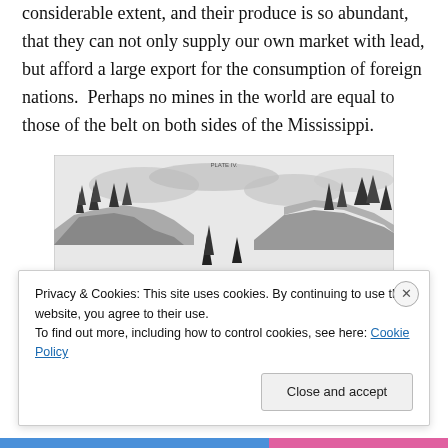considerable extent, and their produce is so abundant, that they can not only supply our own market with lead, but afford a large export for the consumption of foreign nations.  Perhaps no mines in the world are equal to those of the belt on both sides of the Mississippi.
[Figure (illustration): Black and white engraving of a forested river valley with evergreen trees on rocky cliffs and a waterway in the foreground, under a cloudy sky.]
Privacy & Cookies: This site uses cookies. By continuing to use this website, you agree to their use.
To find out more, including how to control cookies, see here: Cookie Policy